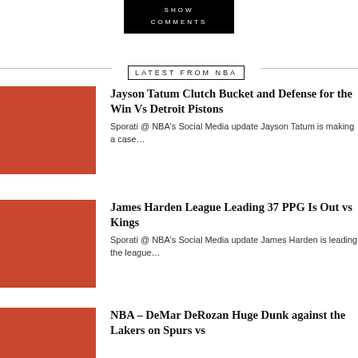[Figure (other): Black button with text SHOW COMMENTS]
LATEST FROM NBA
[Figure (other): Red/terracotta placeholder image thumbnail]
Jayson Tatum Clutch Bucket and Defense for the Win Vs Detroit Pistons
Sporati @ NBA's Social Media update Jayson Tatum is making a case…
[Figure (other): Red/terracotta placeholder image thumbnail]
James Harden League Leading 37 PPG Is Out vs Kings
Sporati @ NBA's Social Media update James Harden is leading the league…
[Figure (other): Red/terracotta placeholder image thumbnail]
NBA – DeMar DeRozan Huge Dunk against the Lakers on Spurs vs